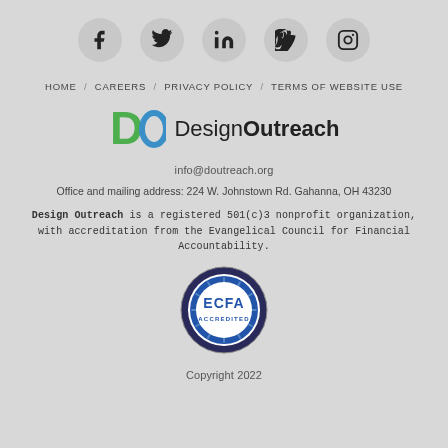[Figure (illustration): Row of five social media icons in circles: Facebook, Twitter, LinkedIn, Vimeo, Instagram]
HOME / CAREERS / PRIVACY POLICY / TERMS OF WEBSITE USE
[Figure (logo): Design Outreach logo: green D and blue O letter marks with text 'DesignOutreach']
info@doutreach.org
Office and mailing address: 224 W. Johnstown Rd. Gahanna, OH 43230
Design Outreach is a registered 501(c)3 nonprofit organization, with accreditation from the Evangelical Council for Financial Accountability.
[Figure (logo): ECFA Accredited badge — circular seal with blue rays and the text ECFA ACCREDITED]
Copyright 2022